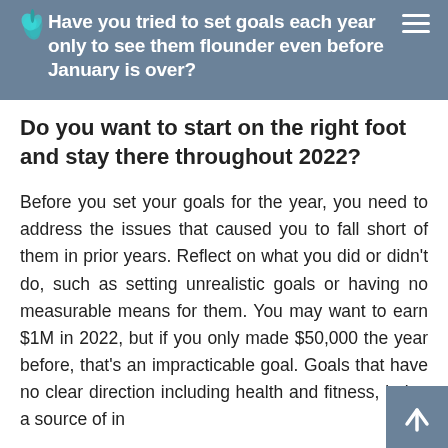Have you tried to set goals each year only to see them flounder even before January is over?
Do you want to start on the right foot and stay there throughout 2022?
Before you set your goals for the year, you need to address the issues that caused you to fall short of them in prior years. Reflect on what you did or didn't do, such as setting unrealistic goals or having no measurable means for them. You may want to earn $1M in 2022, but if you only made $50,000 the year before, that's an impracticable goal. Goals that have no clear direct… including health and fitness, being a source of in…